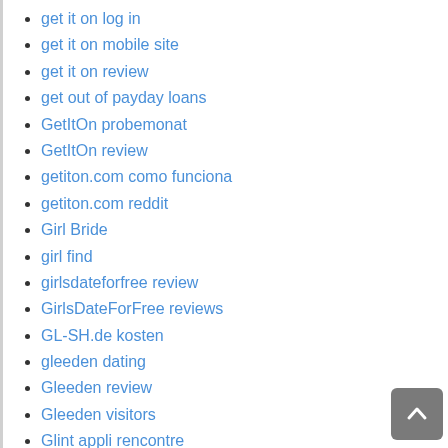get it on log in
get it on mobile site
get it on review
get out of payday loans
GetItOn probemonat
GetItOn review
getiton.com como funciona
getiton.com reddit
Girl Bride
girl find
girlsdateforfree review
GirlsDateForFree reviews
GL-SH.de kosten
gleeden dating
Gleeden review
Gleeden visitors
Glint appli rencontre
Glint dating
glint hookup sites
Glint review
Glint tips